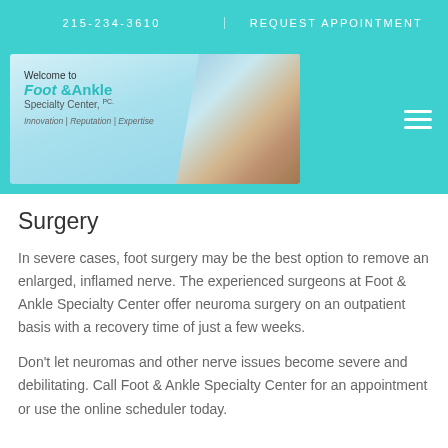215-234-3610
REQUEST APPOINTMENT
[Figure (logo): Foot & Ankle Specialty Center, PC banner with logo text 'Welcome to Foot & Ankle Specialty Center, PC. Innovation | Reputation | Expertise' and photo of legs/feet on right side]
Surgery
In severe cases, foot surgery may be the best option to remove an enlarged, inflamed nerve. The experienced surgeons at Foot & Ankle Specialty Center offer neuroma surgery on an outpatient basis with a recovery time of just a few weeks.
Don't let neuromas and other nerve issues become severe and debilitating. Call Foot & Ankle Specialty Center for an appointment or use the online scheduler today.